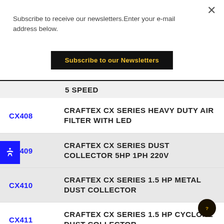Subscribe to receive our newsletters.Enter your e-mail address below.
Subscribe to our Newsletters
5 SPEED
CX408 — CRAFTEX CX SERIES HEAVY DUTY AIR FILTER WITH LED
CX409 — CRAFTEX CX SERIES DUST COLLECTOR 5HP 1PH 220V
CX410 — CRAFTEX CX SERIES 1.5 HP METAL DUST COLLECTOR
CX411 — CRAFTEX CX SERIES 1.5 HP CYCLONE DUST COLLECTOR